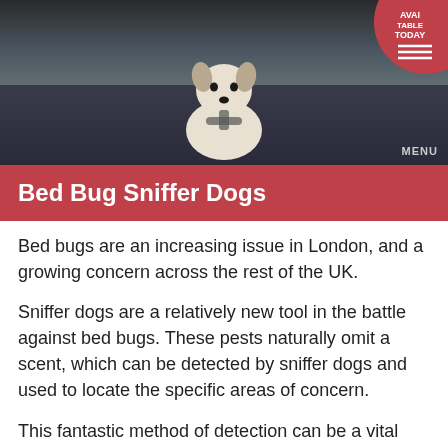[Figure (photo): A dog (appears to be a Chihuahua or Jack Russell mix) sitting in a car seat, visible from chest up, wearing a harness. Dark car interior background. Red circular badge in top-right corner with 'AVAILABLE TODAY' text and hamburger menu icon with 'MENU' label below.]
Bed Bug Sniffer Dogs
Bed bugs are an increasing issue in London, and a growing concern across the rest of the UK.
Sniffer dogs are a relatively new tool in the battle against bed bugs. These pests naturally omit a scent, which can be detected by sniffer dogs and used to locate the specific areas of concern.
This fantastic method of detection can be a vital factor in successful eradication, especially for businesses, like hotels, hostels, universities, schools